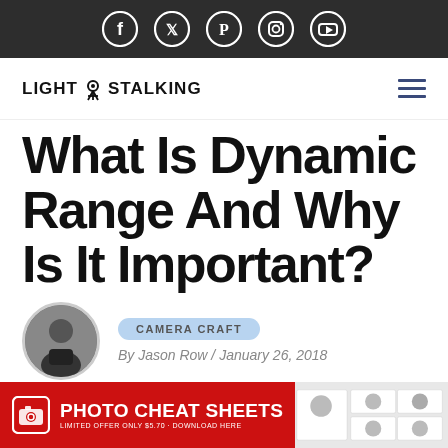Social media icons: Facebook, Twitter, Pinterest, Instagram, YouTube
LIGHT STALKING
What Is Dynamic Range And Why Is It Important?
CAMERA CRAFT
By Jason Row / January 26, 2018
[Figure (photo): Author avatar photo of Jason Row, circular crop]
[Figure (infographic): Photo Cheat Sheets advertisement banner — red background, camera icon, text: PHOTO CHEAT SHEETS, LIMITED OFFER ONLY $5.70 - DOWNLOAD HERE, with cheat sheet thumbnails on the right]